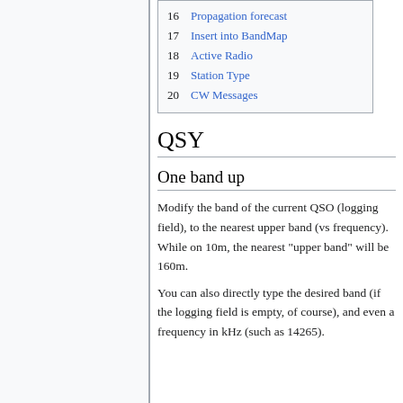16  Propagation forecast
17  Insert into BandMap
18  Active Radio
19  Station Type
20  CW Messages
QSY
One band up
Modify the band of the current QSO (logging field), to the nearest upper band (vs frequency). While on 10m, the nearest "upper band" will be 160m.
You can also directly type the desired band (if the logging field is empty, of course), and even a frequency in kHz (such as 14265).